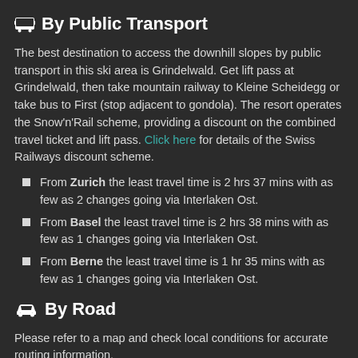By Public Transport
The best destination to access the downhill slopes by public transport in this ski area is Grindelwald. Get lift pass at Grindelwald, then take mountain railway to Kleine Scheidegg or take bus to First (stop adjacent to gondola). The resort operates the Snow'n'Rail scheme, providing a discount on the combined travel ticket and lift pass. Click here for details of the Swiss Railways discount scheme.
From Zurich the least travel time is 2 hrs 37 mins with as few as 2 changes going via Interlaken Ost.
From Basel the least travel time is 2 hrs 38 mins with as few as 1 changes going via Interlaken Ost.
From Berne the least travel time is 1 hr 35 mins with as few as 1 changes going via Interlaken Ost.
By Road
Please refer to a map and check local conditions for accurate routing information.